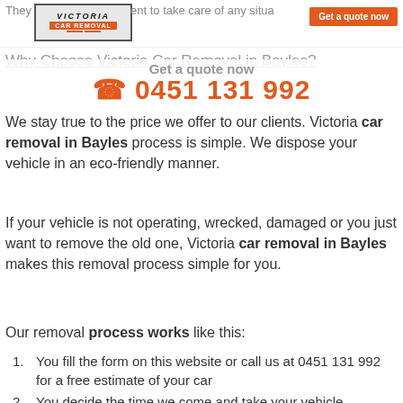They have the equipment to take care of any situation
[Figure (logo): Victoria Car Removal logo — dark text on grey background with orange brand strip and orange decorative lines]
[Figure (other): Orange 'Get a quote now' button in top right corner]
Why Choose Victoria Car Removal in Bayles?
Get a quote now
☎ 0451 131 992
We stay true to the price we offer to our clients. Victoria car removal in Bayles process is simple. We dispose your vehicle in an eco-friendly manner.
If your vehicle is not operating, wrecked, damaged or you just want to remove the old one, Victoria car removal in Bayles makes this removal process simple for you.
Our removal process works like this:
You fill the form on this website or call us at 0451 131 992 for a free estimate of your car
You decide the time we come and take your vehicle, according to your convenience